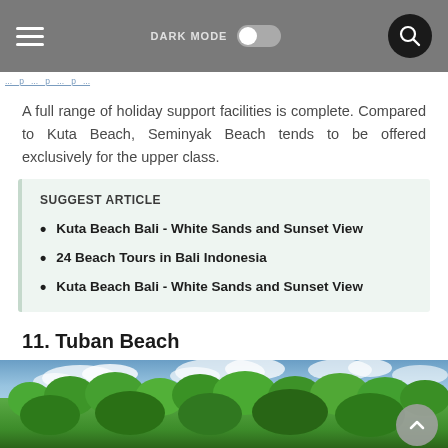Navigation bar with hamburger menu, DARK MODE toggle, and search button
A full range of holiday support facilities is complete. Compared to Kuta Beach, Seminyak Beach tends to be offered exclusively for the upper class.
SUGGEST ARTICLE
Kuta Beach Bali - White Sands and Sunset View
24 Beach Tours in Bali Indonesia
Kuta Beach Bali - White Sands and Sunset View
11. Tuban Beach
[Figure (photo): Partial photo of Tuban Beach showing blue sky with clouds and dense green tropical trees/vegetation]